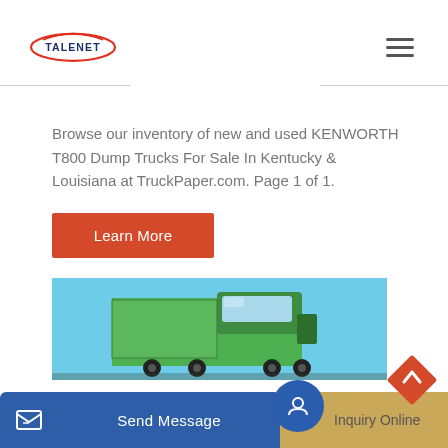[Figure (logo): TALENET logo with red ellipse and blue text]
Browse our inventory of new and used KENWORTH T800 Dump Trucks For Sale In Kentucky & Louisiana at TruckPaper.com. Page 1 of 1.
[Figure (other): Learn More button - orange/red rectangular button]
[Figure (photo): Partial photo of a green Kenworth T800 dump truck against a blue sky]
[Figure (other): Bottom bar with Send Message (blue) and Inquiry Online (tan/gold) buttons, and a red diamond back-to-top arrow button]